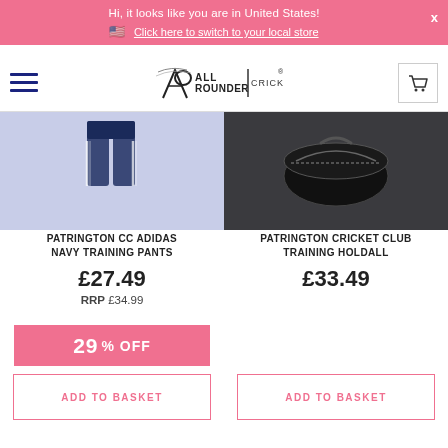Hi, it looks like you are in United States! 🇺🇸 Click here to switch to your local store
[Figure (screenshot): All Rounder Cricket logo in navigation bar with hamburger menu and cart icon]
[Figure (photo): Patrington CC Adidas Navy Training Pants product image on blue-grey background]
[Figure (photo): Patrington Cricket Club Training Holdall bag product image on dark background]
PATRINGTON CC ADIDAS NAVY TRAINING PANTS
£27.49
RRP £34.99
PATRINGTON CRICKET CLUB TRAINING HOLDALL
£33.49
29% OFF
ADD TO BASKET
ADD TO BASKET